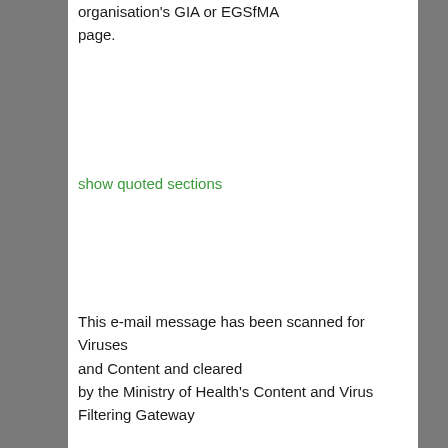organisation's GIA or EGSfMA page.
show quoted sections
This e-mail message has been scanned for Viruses and Content and cleared by the Ministry of Health's Content and Virus Filtering Gateway
------------------------------------------------------------------------
------
References